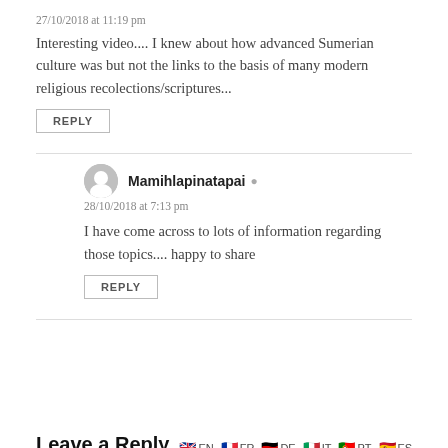27/10/2018 at 11:19 pm
Interesting video.... I knew about how advanced Sumerian culture was but not the links to the basis of many modern religious recolections/scriptures...
REPLY
Mamihlapinatapai
28/10/2018 at 7:13 pm
I have come across to lots of information regarding those topics.... happy to share
REPLY
Leave a Reply
EN FR DE IT PT ES